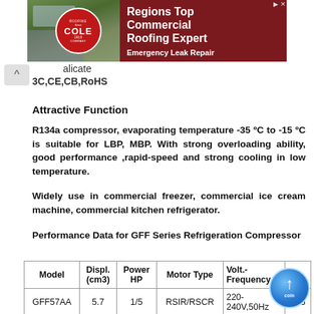[Figure (illustration): Cole Roofing Company advertisement banner. Shows aerial photo of commercial building on left, Cole Roofing Company logo (circular red badge with 'Since 1919'), and text 'Regions Top Commercial Roofing Expert' and 'Emergency Leak Repair' on dark red background.]
alicate
3C,CE,CB,RoHS
Attractive Function
R134a compressor, evaporating temperature -35 ºC to -15 ºC is suitable for LBP, MBP. With strong overloading ability, good performance ,rapid-speed and strong cooling in low temperature.
Widely use in commercial freezer, commercial ice cream machine, commercial kitchen refrigerator.
Performance Data for GFF Series Refrigeration Compressor
| Model | Displ. (cm3) | Power HP | Motor Type | Volt.-Frequency |  |
| --- | --- | --- | --- | --- | --- |
| GFF57AA | 5.7 | 1/5 | RSIR/RSCR | 220-240V,50Hz | 166 |